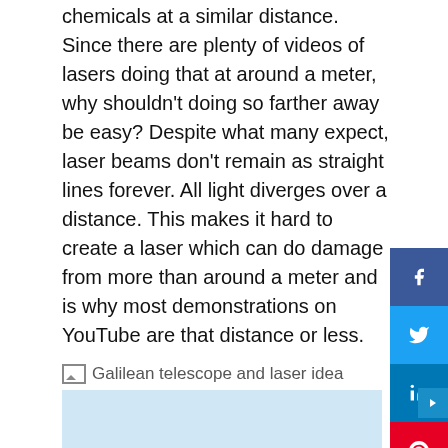chemicals at a similar distance. Since there are plenty of videos of lasers doing that at around a meter, why shouldn't doing so farther away be easy? Despite what many expect, laser beams don't remain as straight lines forever. All light diverges over a distance. This makes it hard to create a laser which can do damage from more than around a meter and is why most demonstrations on YouTube are that distance or less.
[Figure (photo): Galilean telescope and laser idea — image placeholder with broken image icon and alt text]
[Styropyro's] handheld, DIY laser rifle, or Laser Telescope Blaster as he calls it, works for long distances. His solution